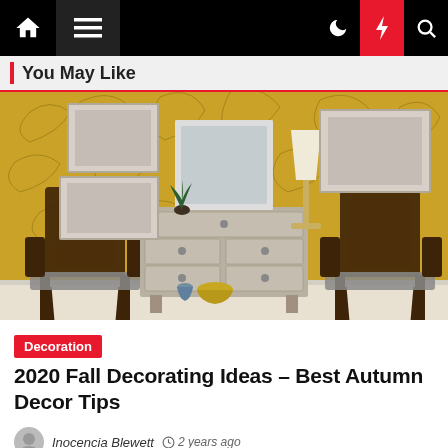Navigation bar with home, menu, dark mode, flash, and search icons
You May Like
[Figure (photo): Interior room with yellow floral wallpaper, two dark wood armchairs with spotted upholstery, a grey dresser/console table in the center, an ornate white framed mirror, a white lamp, framed artwork on walls, and decorative items on the dresser.]
Decoration
2020 Fall Decorating Ideas – Best Autumn Decor Tips
Inocencia Blewett  2 years ago